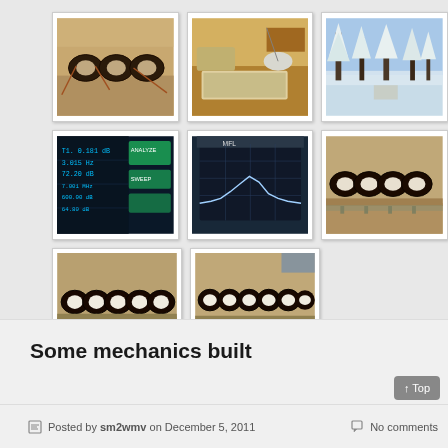[Figure (photo): Gallery of 8 photos showing electronic components (toroids/coils), workbench, snowy winter scene, oscilloscope/analyzer screens, and assembled coil arrays on PCB boards]
Some mechanics built
Posted by sm2wmv on December 5, 2011
No comments